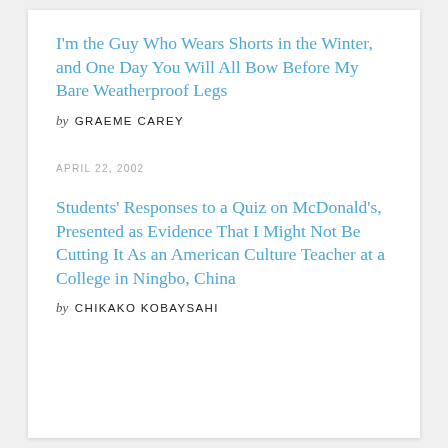I'm the Guy Who Wears Shorts in the Winter, and One Day You Will All Bow Before My Bare Weatherproof Legs
by GRAEME CAREY
APRIL 22, 2002
Students' Responses to a Quiz on McDonald's, Presented as Evidence That I Might Not Be Cutting It As an American Culture Teacher at a College in Ningbo, China
by CHIKAKO KOBAYSAHI